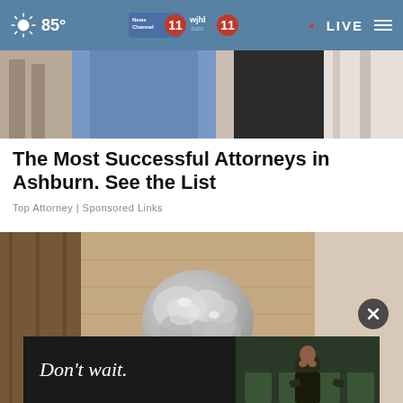85° | News Channel 11 | wjhl.com 11 | LIVE
[Figure (photo): Cropped photo of people at an event, person in blue dress and person in black outfit visible]
The Most Successful Attorneys in Ashburn. See the List
Top Attorney | Sponsored Links
[Figure (photo): Photo of a door knob wrapped in aluminum/tin foil on a wooden door]
[Figure (photo): Advertisement banner with text 'Don't wait.' and photo of a person sitting distressed in a chair]